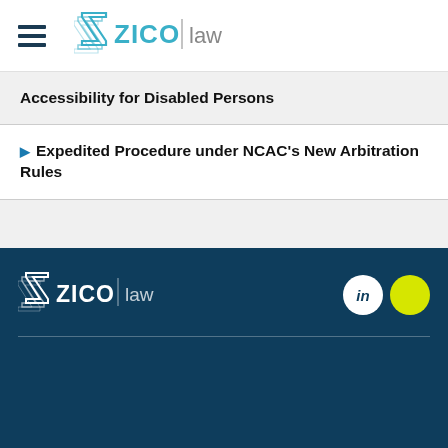[Figure (logo): ZICO law logo with hamburger menu in white header]
Accessibility for Disabled Persons
Expedited Procedure under NCAC's New Arbitration Rules
[Figure (logo): ZICO law logo in dark blue footer with LinkedIn and yellow social media icons]